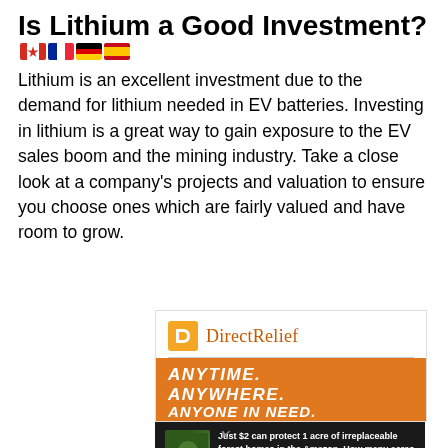Is Lithium a Good Investment?
Lithium is an excellent investment due to the demand for lithium needed in EV batteries. Investing in lithium is a great way to gain exposure to the EV sales boom and the mining industry. Take a close look at a company's projects and valuation to ensure you choose ones which are fairly valued and have room to grow.
[Figure (illustration): Direct Relief charity advertisement with logo, 'ANYTIME. ANYWHERE. ANYONE IN NEED.' orange banner, and an Amazon forest protection ad below it.]